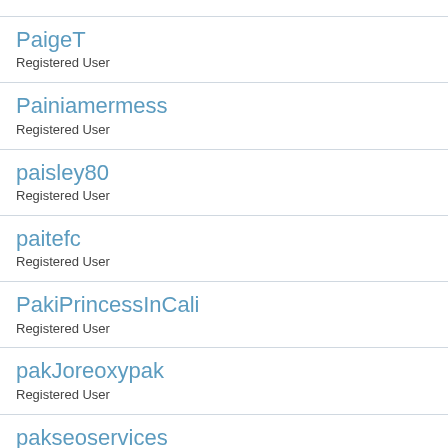PaigeT
Registered User
Painiamermess
Registered User
paisley80
Registered User
paitefc
Registered User
PakiPrincessInCali
Registered User
pakJoreoxypak
Registered User
pakseoservices
Registered User